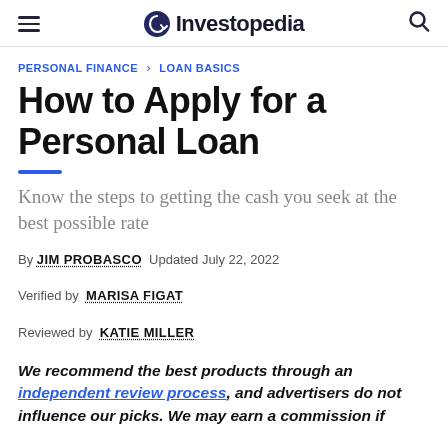Investopedia
PERSONAL FINANCE > LOAN BASICS
How to Apply for a Personal Loan
Know the steps to getting the cash you seek at the best possible rate
By JIM PROBASCO Updated July 22, 2022
Verified by MARISA FIGAT
Reviewed by KATIE MILLER
We recommend the best products through an independent review process, and advertisers do not influence our picks. We may earn a commission if...